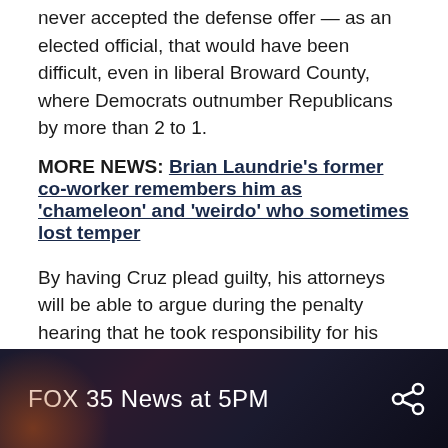never accepted the defense offer — as an elected official, that would have been difficult, even in liberal Broward County, where Democrats outnumber Republicans by more than 2 to 1.
MORE NEWS: Brian Laundrie's former co-worker remembers him as 'chameleon' and 'weirdo' who sometimes lost temper
By having Cruz plead guilty, his attorneys will be able to argue during the penalty hearing that he took responsibility for his actions.
Watch FOX 35 Orlando for the latest Central Florida news.
[Figure (screenshot): FOX 35 News at 5PM video thumbnail with share icon, dark background with orange glow in lower left corner]